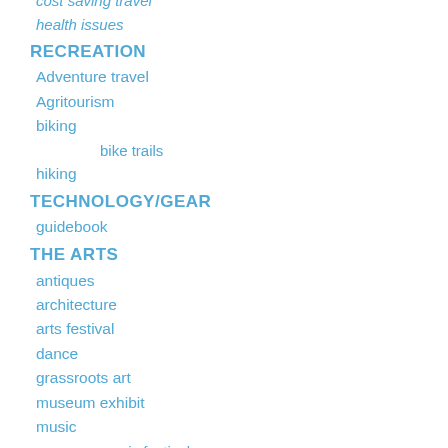cost saving travel
health issues
RECREATION
Adventure travel
Agritourism
biking
bike trails
hiking
TECHNOLOGY/GEAR
guidebook
THE ARTS
antiques
architecture
arts festival
dance
grassroots art
museum exhibit
music
music festival
theater